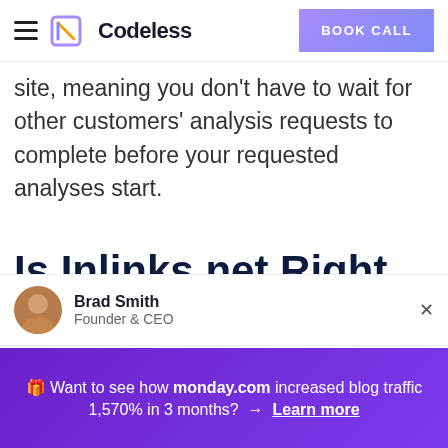Codeless | BOOK CALL
site, meaning you don't have to wait for other customers' analysis requests to complete before your requested analyses start.
Is Inlinks.net Right For Your Business?
Brad Smith
Founder & CEO
🎁 Want to see how monday.com increased blog traffic 1,570% in 3 months? → Learn more